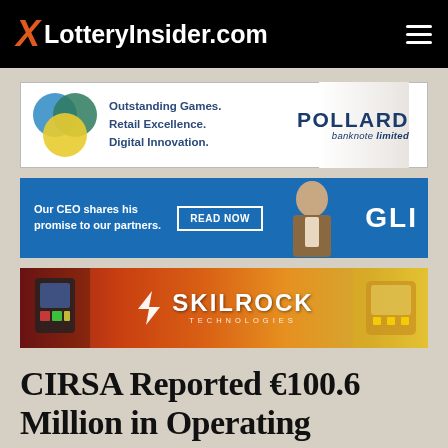LotteryInsider.com
[Figure (advertisement): Pollard Banknote Limited advertisement banner with three overlapping circles (blue, teal, yellow) and text: Outstanding Games. Retail Excellence. Digital Innovation.]
[Figure (advertisement): GLI advertisement banner with text: Our CEO shares his promise to our partners. READ NOW button, photo of executive, and GLI logo]
[Figure (advertisement): Skilrock Technologies advertisement banner with company name and logo on gradient orange/red background]
CIRSA Reported €100.6 Million in Operating